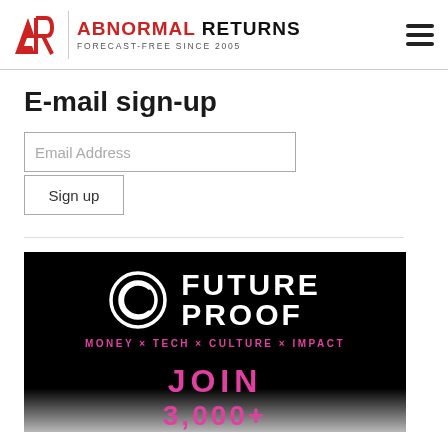ABNORMAL RETURNS – FORECAST-FREE SINCE 2005
E-mail sign-up
[Figure (screenshot): Email Address input field with Sign up button below]
[Figure (logo): Future Proof banner – MONEY × TECH × CULTURE × IMPACT – JOIN 3,000+]